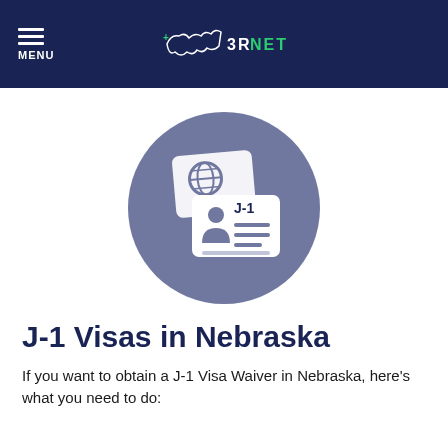MENU | 3RNET
[Figure (illustration): Circular purple/slate icon showing a passport with globe symbol and a J-1 visa card with a person icon and horizontal lines]
J-1 Visas in Nebraska
If you want to obtain a J-1 Visa Waiver in Nebraska, here's what you need to do: